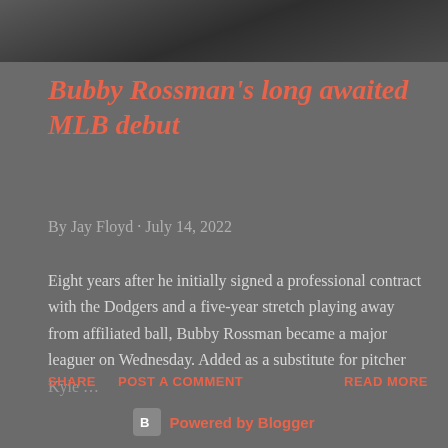[Figure (photo): Cropped photo strip of a baseball player or sports figure at the top of the page]
Bubby Rossman's long awaited MLB debut
By Jay Floyd · July 14, 2022
Eight years after he initially signed a professional contract with the Dodgers and a five-year stretch playing away from affiliated ball, Bubby Rossman became a major leaguer on Wednesday. Added as a substitute for pitcher Kyle …
SHARE   POST A COMMENT   READ MORE
Powered by Blogger